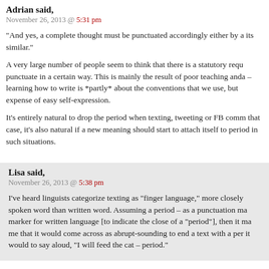Adrian said,
November 26, 2013 @ 5:31 pm
"And yes, a complete thought must be punctuated accordingly either by a its similar."
A very large number of people seem to think that there is a statutory requ punctuate in a certain way. This is mainly the result of poor teaching anda – learning how to write is *partly* about the conventions that we use, but expense of easy self-expression.
It's entirely natural to drop the period when texting, tweeting or FB comm that case, it's also natural if a new meaning should start to attach itself to period in such situations.
Lisa said,
November 26, 2013 @ 5:38 pm
I've heard linguists categorize texting as "finger language," more closely spoken word than written word. Assuming a period – as a punctuation ma marker for written language [to indicate the close of a "period"], then it ma me that it would come across as abrupt-sounding to end a text with a per it would to say aloud, "I will feed the cat – period."